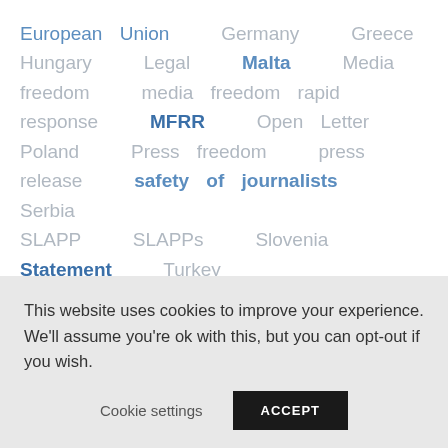European Union  Germany  Greece  Hungary  Legal  Malta  Media freedom  media freedom rapid response  MFRR  Open Letter  Poland  Press freedom  press release  safety of journalists  Serbia  SLAPP  SLAPPs  Slovenia  Statement  Turkey
This website uses cookies to improve your experience. We'll assume you're ok with this, but you can opt-out if you wish.
Cookie settings  ACCEPT